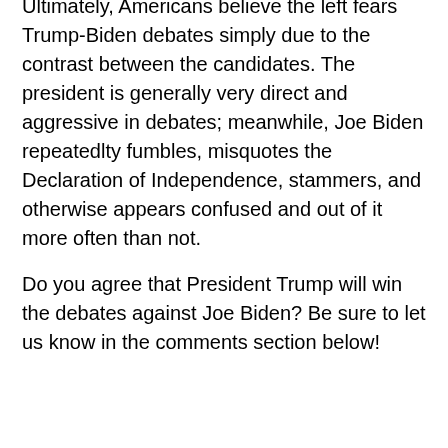Ultimately, Americans believe the left fears Trump-Biden debates simply due to the contrast between the candidates. The president is generally very direct and aggressive in debates; meanwhile, Joe Biden repeatedlty fumbles, misquotes the Declaration of Independence, stammers, and otherwise appears confused and out of it more often than not.
Do you agree that President Trump will win the debates against Joe Biden? Be sure to let us know in the comments section below!